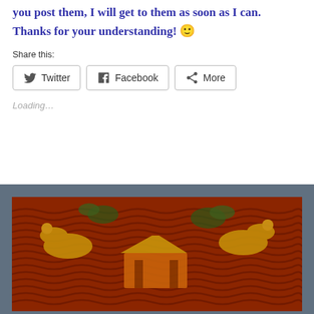you post them, I will get to them as soon as I can. Thanks for your understanding! 🙂
Share this:
Twitter  Facebook  More
Loading…
[Figure (photo): Decorative Asian artwork showing golden dragons or mythical creatures amid waves, with ornate floral and architectural elements, rendered in dark red, gold, and green colors on a rich textile or lacquerwork background.]